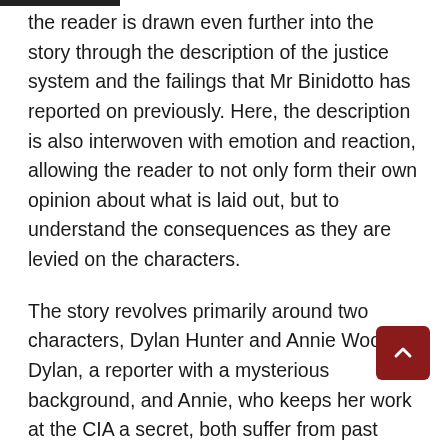the reader is drawn even further into the story through the description of the justice system and the failings that Mr Binidotto has reported on previously. Here, the description is also interwoven with emotion and reaction, allowing the reader to not only form their own opinion about what is laid out, but to understand the consequences as they are levied on the characters.
The story revolves primarily around two characters, Dylan Hunter and Annie Woods. Dylan, a reporter with a mysterious background, and Annie, who keeps her work at the CIA a secret, both suffer from past wounds and an excess of secret. Their personal relationship grows, while their other motives create tension in their relationship. This conflict both grows from and drives the actions...